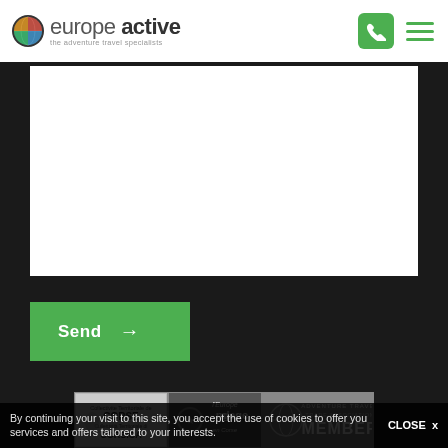[Figure (logo): Europe Active logo with globe icon and tagline 'the adventure travel specialists']
[Figure (screenshot): White textarea/input box for form]
[Figure (other): Green Send button with right arrow]
[Figure (other): Three partner/certification logos: Collectivite Territoriale de Corse/Corsica, L'Europe s'engage en Corse, Adventure Travel Trade Association Member]
Home - Contact - Sales conditions - Legal notice - Copyright ©
By continuing your visit to this site, you accept the use of cookies to offer you services and offers tailored to your interests.
CLOSE x